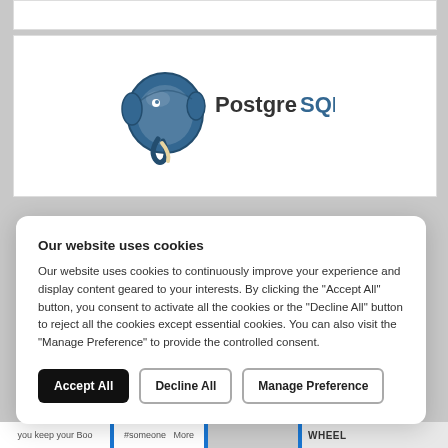[Figure (logo): PostgreSQL logo — blue elephant icon on the left and 'PostgreSQL' text on the right with 'Postgre' in dark gray and 'SQL' in blue]
Our website uses cookies
Our website uses cookies to continuously improve your experience and display content geared to your interests. By clicking the "Accept All" button, you consent to activate all the cookies or the "Decline All" button to reject all the cookies except essential cookies. You can also visit the "Manage Preference" to provide the controlled consent.